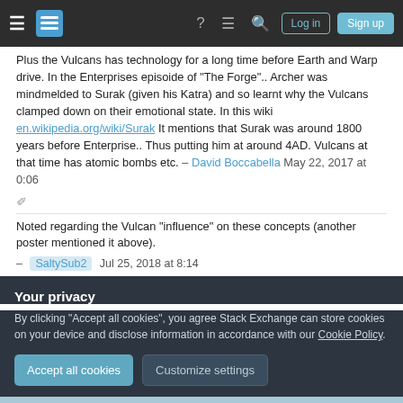Stack Exchange navigation bar with Log in and Sign up buttons
Plus the Vulcans has technology for a long time before Earth and Warp drive. In the Enterprises episoide of "The Forge".. Archer was mindmelded to Surak (given his Katra) and so learnt why the Vulcans clamped down on their emotional state. In this wiki en.wikipedia.org/wiki/Surak It mentions that Surak was around 1800 years before Enterprise.. Thus putting him at around 4AD. Vulcans at that time has atomic bombs etc. – David Boccabella May 22, 2017 at 0:06
Noted regarding the Vulcan "influence" on these concepts (another poster mentioned it above). – SaltySub2 Jul 25, 2018 at 8:14
Your privacy
By clicking "Accept all cookies", you agree Stack Exchange can store cookies on your device and disclose information in accordance with our Cookie Policy.
Accept all cookies   Customize settings